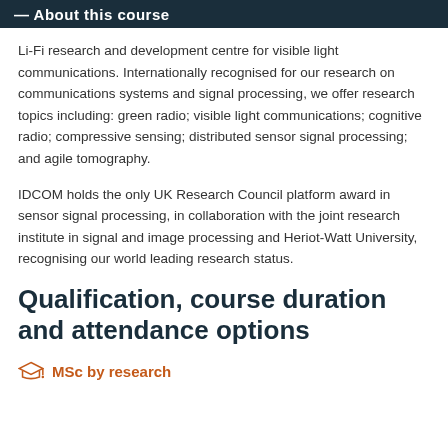About this course
Li-Fi research and development centre for visible light communications. Internationally recognised for our research on communications systems and signal processing, we offer research topics including: green radio; visible light communications; cognitive radio; compressive sensing; distributed sensor signal processing; and agile tomography.
IDCOM holds the only UK Research Council platform award in sensor signal processing, in collaboration with the joint research institute in signal and image processing and Heriot-Watt University, recognising our world leading research status.
Qualification, course duration and attendance options
MSc by research